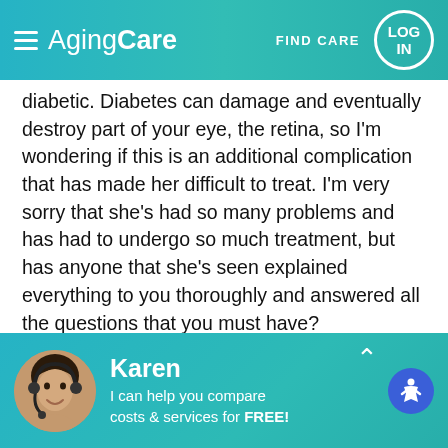[Figure (screenshot): AgingCare website header with hamburger menu, AgingCare logo, FIND CARE link, and LOG IN button]
diabetic. Diabetes can damage and eventually destroy part of your eye, the retina, so I'm wondering if this is an additional complication that has made her difficult to treat. I'm very sorry that she's had so many problems and has had to undergo so much treatment, but has anyone that she's seen explained everything to you thoroughly and answered all the questions that you must have?

Do you literally mean that she has lost half of her body weight in six months?
[Figure (screenshot): AgingCare chat widget with Karen avatar photo, name Karen, text 'I can help you compare costs & services for FREE!', chevron up arrow, and accessibility icon]